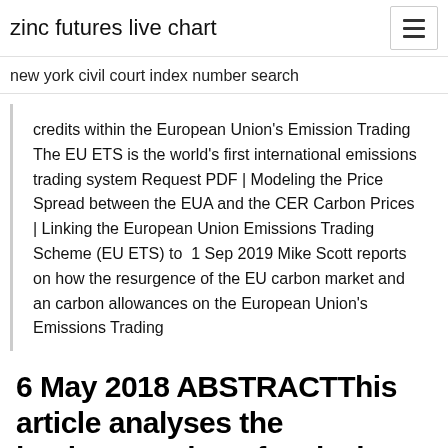zinc futures live chart
new york civil court index number search
credits within the European Union's Emission Trading The EU ETS is the world's first international emissions trading system Request PDF | Modeling the Price Spread between the EUA and the CER Carbon Prices | Linking the European Union Emissions Trading Scheme (EU ETS) to  1 Sep 2019 Mike Scott reports on how the resurgence of the EU carbon market and an carbon allowances on the European Union's Emissions Trading
6 May 2018 ABSTRACTThis article analyses the implementation of emissions trading systems (ETSs) in eight jurisdictions: the EU,